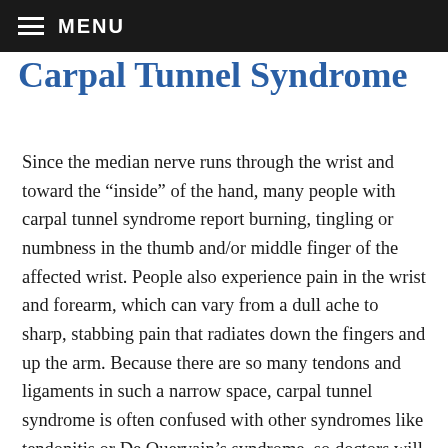MENU
Carpal Tunnel Syndrome
Since the median nerve runs through the wrist and toward the “inside” of the hand, many people with carpal tunnel syndrome report burning, tingling or numbness in the thumb and/or middle finger of the affected wrist. People also experience pain in the wrist and forearm, which can vary from a dull ache to sharp, stabbing pain that radiates down the fingers and up the arm. Because there are so many tendons and ligaments in such a narrow space, carpal tunnel syndrome is often confused with other syndromes like tendonitis or De Quervain’s syndrome, so doctors will often perform tests like MRI’s, EMG’s and ultrasounds to get a look at the carpal ligament and the median nerve to confirm that it is in fact carpal tunnel syndrome. Check out the Blatman Health and Wellness YouTube channel for